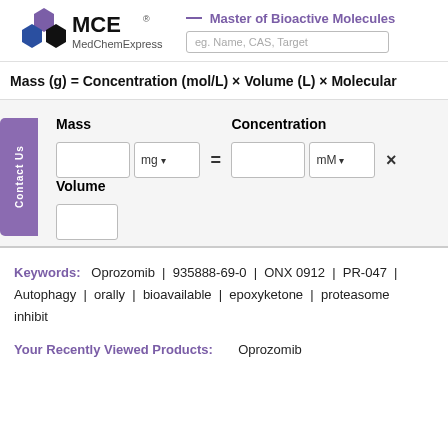[Figure (logo): MedChemExpress (MCE) logo with hexagonal molecular icons in blue and purple, bold MCE text, and MedChemExpress subtitle]
— Master of Bioactive Molecules
eg. Name, CAS, Target
Mass   mg =   Concentration   mM ×   Volume
Contact Us
Keywords:   Oprozomib  |  935888-69-0  |  ONX 0912  |  PR-047  |  Autophagy  |  orally  |  bioavailable  |  epoxyketone  |  proteasome  inhibit
Your Recently Viewed Products:   Oprozomib